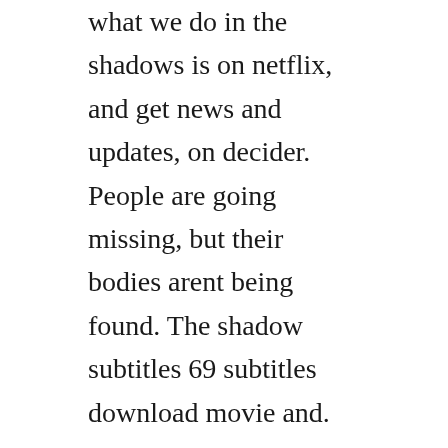what we do in the shadows is on netflix, and get news and updates, on decider. People are going missing, but their bodies arent being found. The shadow subtitles 69 subtitles download movie and.
English dolby digital mono, french dolby digital mono. Daredevil subtitles download movie and tv series subtitles. Daredevil season 1 complete download 480p all episode subtitles in season one marvels daredevil is a live action series that follows the journey of attorney matt murdock, who in a tragic accident blinded and...